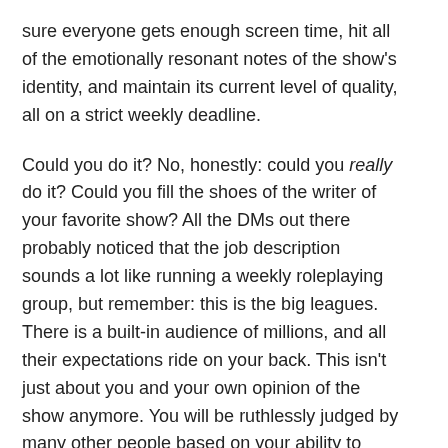sure everyone gets enough screen time, hit all of the emotionally resonant notes of the show's identity, and maintain its current level of quality, all on a strict weekly deadline.
Could you do it? No, honestly: could you really do it? Could you fill the shoes of the writer of your favorite show? All the DMs out there probably noticed that the job description sounds a lot like running a weekly roleplaying group, but remember: this is the big leagues. There is a built-in audience of millions, and all their expectations ride on your back. This isn't just about you and your own opinion of the show anymore. You will be ruthlessly judged by many other people based on your ability to produce top quality television week after week after week. Could you do it? Continue reading →